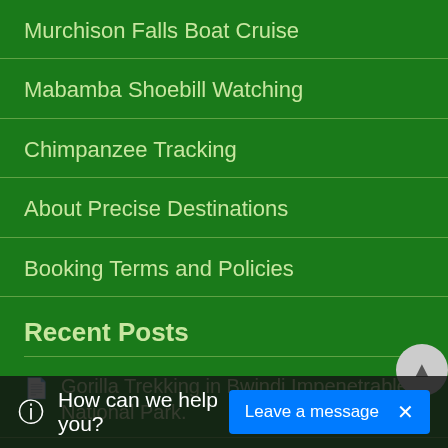Murchison Falls Boat Cruise
Mabamba Shoebill Watching
Chimpanzee Tracking
About Precise Destinations
Booking Terms and Policies
Recent Posts
Gorilla Trekking in Bwindi Impenetrable National Park.
es National P…
How can we help you?   Leave a message  ×